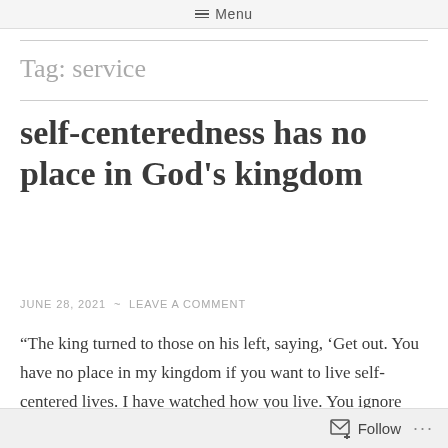Menu
Tag: service
self-centeredness has no place in God’s kingdom
JUNE 28, 2021  ~  LEAVE A COMMENT
“The king turned to those on his left, saying, ‘Get out. You have no place in my kingdom if you want to live self-centered lives. I have watched how you live. You ignore
Follow ...